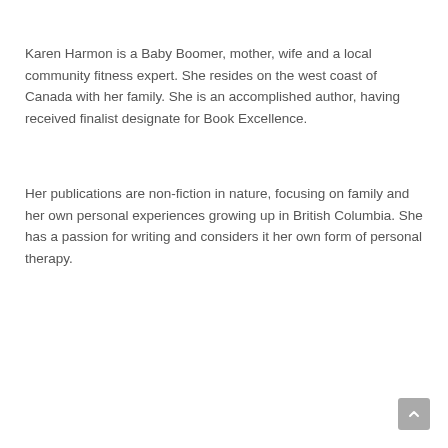Karen Harmon is a Baby Boomer, mother, wife and a local community fitness expert. She resides on the west coast of Canada with her family. She is an accomplished author, having received finalist designate for Book Excellence.
Her publications are non-fiction in nature, focusing on family and her own personal experiences growing up in British Columbia. She has a passion for writing and considers it her own form of personal therapy.